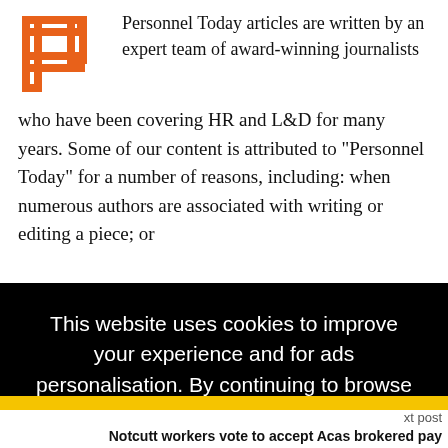[Figure (logo): Personnel Today logo — orange stepped bracket shape (stylized P icon)]
Personnel Today articles are written by an expert team of award-winning journalists who have been covering HR and L&D for many years. Some of our content is attributed to "Personnel Today" for a number of reasons, including: when numerous authors are associated with writing or editing a piece; or
This website uses cookies to improve your experience and for ads personalisation. By continuing to browse this site you are agreeing to our use of these cookies. You can learn more about the cookies we use here.
OK
xt post
Notcutt workers vote to accept Acas brokered pay deal